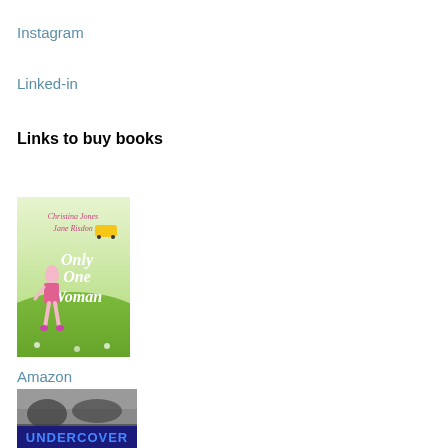Instagram
Linked-in
Links to buy books
[Figure (photo): Book cover: Only One Woman by Christina Jones and Jane Risdon. Green illustrated cover with a woman walking.]
Amazon
[Figure (photo): Book cover: Undercover (partially visible), dark cover with bold text UNDERCOVER at the bottom.]